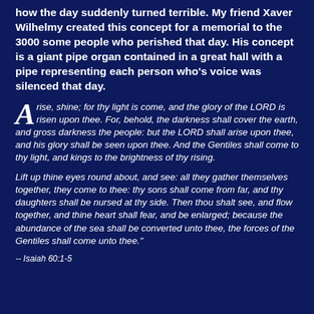how the day suddenly turned terrible. My friend Xaver Wilhelmy created this concept for a memorial to the 3000 some people who perished that day. His concept is a giant pipe organ contained in a great hall with a pipe representing each person who's voice was silenced that day.
Arise, shine; for thy light is come, and the glory of the LORD is risen upon thee. For, behold, the darkness shall cover the earth, and gross darkness the people: but the LORD shall arise upon thee, and his glory shall be seen upon thee. And the Gentiles shall come to thy light, and kings to the brightness of thy rising.
Lift up thine eyes round about, and see: all they gather themselves together, they come to thee: thy sons shall come from far, and thy daughters shall be nursed at thy side. Then thou shalt see, and flow together, and thine heart shall fear, and be enlarged; because the abundance of the sea shall be converted unto thee, the forces of the Gentiles shall come unto thee."
-- Isaiah 60:1-5